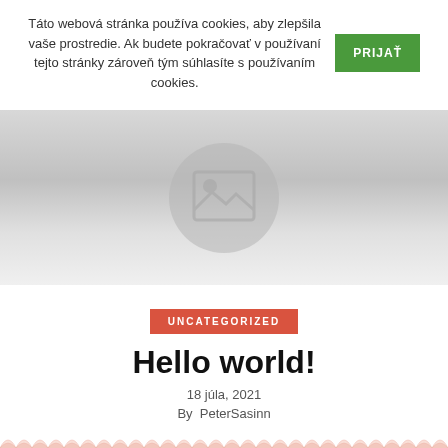Táto webová stránka používa cookies, aby zlepšila vaše prostredie. Ak budete pokračovať v používaní tejto stránky zároveň tým súhlasíte s používaním cookies.
PRIJAŤ
[Figure (photo): Hero image placeholder with mountain/landscape icon inside a circular background, on a light grey gradient banner]
UNCATEGORIZED
Hello world!
18 júla, 2021
By  PeterSasinn